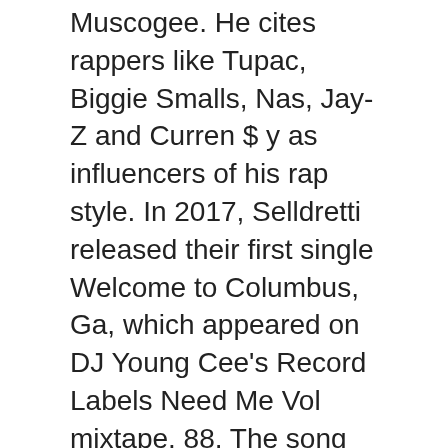Muscogee. He cites rappers like Tupac, Biggie Smalls, Nas, Jay-Z and Curren $ y as influencers of his rap style. In 2017, Selldretti released their first single Welcome to Columbus, Ga, which appeared on DJ Young Cee's Record Labels Need Me Vol mixtape. 88. The song was part of his first Life Goes On project which was officially released in 2016 but placed on streaming platforms in 2017.
READ:  Lauren Alaina Biography
S.M.G
The same year, Selldretti created the rap group S.M.G. and released their only album called The Move in 2017. In December 2017, Selldretti released their second solo project